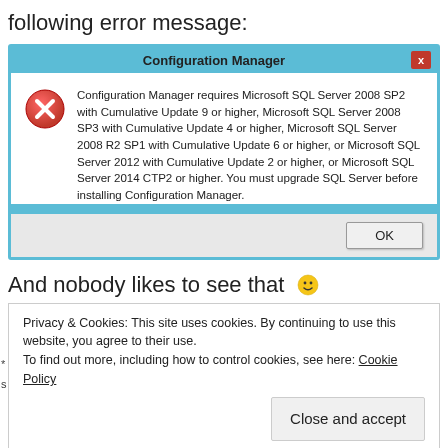following error message:
[Figure (screenshot): Windows Configuration Manager error dialog box with a red error icon stating SQL Server version requirements. Title bar reads 'Configuration Manager'. Close button in top right. OK button at bottom right.]
And nobody likes to see that 🙂
[Figure (screenshot): Cookie consent notice: 'Privacy & Cookies: This site uses cookies. By continuing to use this website, you agree to their use. To find out more, including how to control cookies, see here: Cookie Policy' with a 'Close and accept' button.]
one of the side effects of doing this is that you'll not be able to update in future. There may